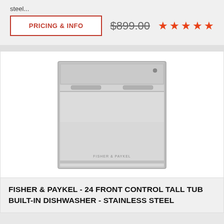steel...
PRICING & INFO
$899.00
[Figure (illustration): Fisher & Paykel stainless steel built-in dishwasher product photo showing front panel with bar handle and brand logo]
FISHER & PAYKEL - 24 FRONT CONTROL TALL TUB BUILT-IN DISHWASHER - STAINLESS STEEL